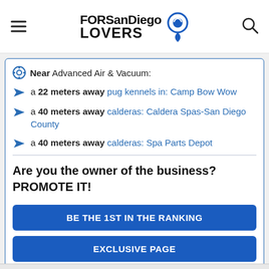FORSanDiego LOVERS
Near Advanced Air & Vacuum:
a 22 meters away pug kennels in: Camp Bow Wow
a 40 meters away calderas: Caldera Spas-San Diego County
a 40 meters away calderas: Spa Parts Depot
Are you the owner of the business? PROMOTE IT!
BE THE 1ST IN THE RANKING
EXCLUSIVE PAGE